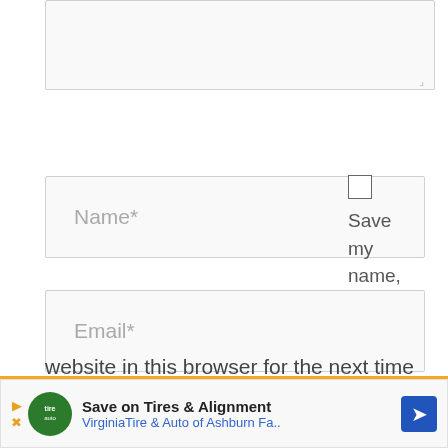[Figure (screenshot): A textarea input box (top portion, partially visible) with a resize handle at bottom-right]
[Figure (screenshot): A form input field labeled 'Name*']
Save my name, email, and
[Figure (screenshot): A form input field labeled 'Email*']
[Figure (screenshot): A form input field labeled 'Website']
website in this browser for the next time I comment.
[Figure (screenshot): Advertisement banner: Save on Tires & Alignment - VirginiaTire & Auto of Ashburn Fa.]